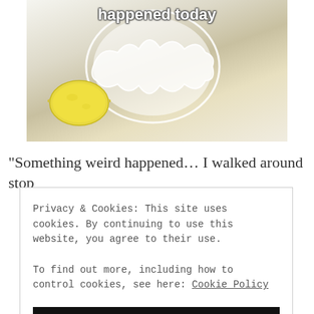[Figure (photo): Photo of a lemon next to a white fluted bowl/dish on a white surface, with overlaid text 'happened today' in bold white font]
“Something weird happened… I walked around stop
Privacy & Cookies: This site uses cookies. By continuing to use this website, you agree to their use.
To find out more, including how to control cookies, see here: Cookie Policy
Close and accept